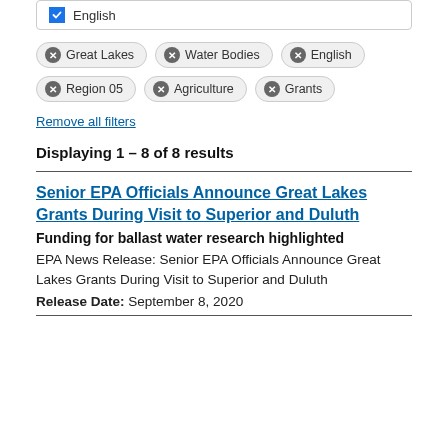English
Great Lakes
Water Bodies
English
Region 05
Agriculture
Grants
Remove all filters
Displaying 1 – 8 of 8 results
Senior EPA Officials Announce Great Lakes Grants During Visit to Superior and Duluth
Funding for ballast water research highlighted
EPA News Release: Senior EPA Officials Announce Great Lakes Grants During Visit to Superior and Duluth
Release Date: September 8, 2020